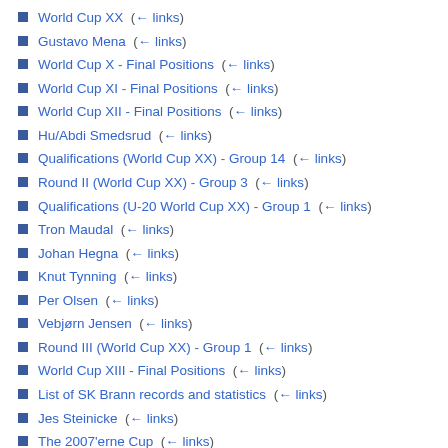World Cup XX  (← links)
Gustavo Mena  (← links)
World Cup X - Final Positions  (← links)
World Cup XI - Final Positions  (← links)
World Cup XII - Final Positions  (← links)
Hu/Abdi Smedsrud  (← links)
Qualifications (World Cup XX) - Group 14  (← links)
Round II (World Cup XX) - Group 3  (← links)
Qualifications (U-20 World Cup XX) - Group 1  (← links)
Tron Maudal  (← links)
Johan Hegna  (← links)
Knut Tynning  (← links)
Per Olsen  (← links)
Vebjørn Jensen  (← links)
Round III (World Cup XX) - Group 1  (← links)
World Cup XIII - Final Positions  (← links)
List of SK Brann records and statistics  (← links)
Jes Steinicke  (← links)
The 2007'erne Cup  (← links)
Ole Mehus  (← links)
Romania national team at the World Cup  (← links)
Bergen Flyers  (← links)